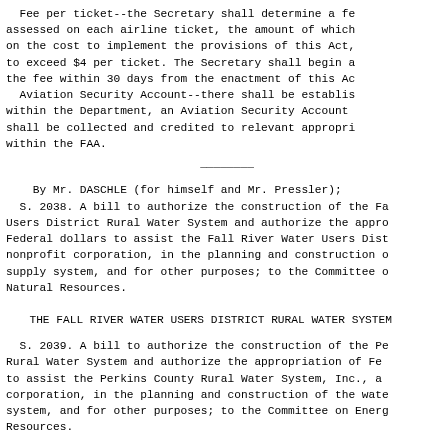Fee per ticket--the Secretary shall determine a fee assessed on each airline ticket, the amount of which on the cost to implement the provisions of this Act, to exceed $4 per ticket. The Secretary shall begin a the fee within 30 days from the enactment of this Ac Aviation Security Account--there shall be establis within the Department, an Aviation Security Account shall be collected and credited to relevant appropri within the FAA.
By Mr. DASCHLE (for himself and Mr. Pressler); S. 2038. A bill to authorize the construction of the Fa Users District Rural Water System and authorize the appr Federal dollars to assist the Fall River Water Users Dist nonprofit corporation, in the planning and construction o supply system, and for other purposes; to the Committee o Natural Resources.
THE FALL RIVER WATER USERS DISTRICT RURAL WATER SYSTEM
S. 2039. A bill to authorize the construction of the Pe Rural Water System and authorize the appropriation of Fe to assist the Perkins County Rural Water System, Inc., a corporation, in the planning and construction of the wate system, and for other purposes; to the Committee on Energ Resources.